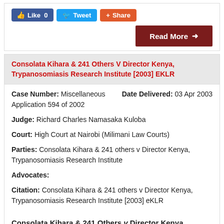[Figure (screenshot): Social media buttons: Like 0 (Facebook), Tweet (Twitter), Share (Google+)]
[Figure (screenshot): Read More button (dark red)]
Consolata Kihara & 241 Others V Director Kenya, Trypanosomiasis Research Institute [2003] EKLR
Case Number: Miscellaneous Application 594 of 2002
Date Delivered: 03 Apr 2003
Judge: Richard Charles Namasaka Kuloba
Court: High Court at Nairobi (Milimani Law Courts)
Parties: Consolata Kihara & 241 others v Director Kenya, Trypanosomiasis Research Institute
Advocates:
Citation: Consolata Kihara & 241 others v Director Kenya, Trypanosomiasis Research Institute [2003] eKLR
Consolata Kihara & 241 Others v Director Kenya, Trypanosomiasis Research Institute